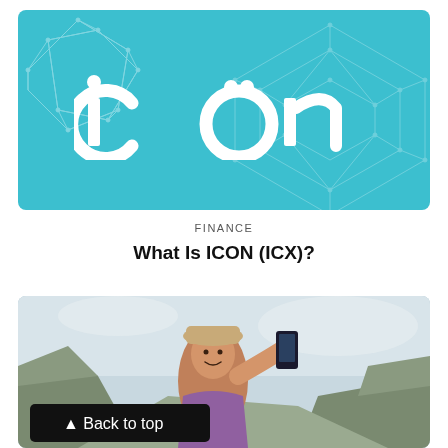[Figure (logo): ICON (ICX) logo on teal/cyan background with geometric polygon network decorations on left and right sides. White lowercase 'icon' text with stylized letters forming the ICON brand logo.]
FINANCE
What Is ICON (ICX)?
[Figure (photo): A young woman wearing a bucket hat taking a selfie with her smartphone outdoors, with rocky cliffs and sky visible in the background. A 'Back to top' button overlay appears at the bottom left of the image.]